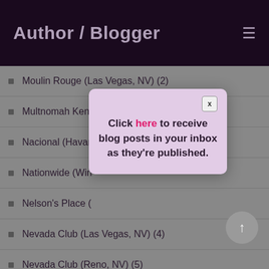Author / Blogger
Moulin Rouge (Las Vegas, NV) (2)
Multnomah Kennel Club (Portland, OR) (1)
Nacional (Hava…
Nationwide (Win…
Nelson's Place (…
Nevada Club (Las Vegas, NV) (4)
Nevada Club (Reno, NV) (5)
Nevada Club (Stateline, NV) (1)
[Figure (screenshot): Modal popup with close button (x) and text: Click here to receive blog posts in your inbox as they're published.]